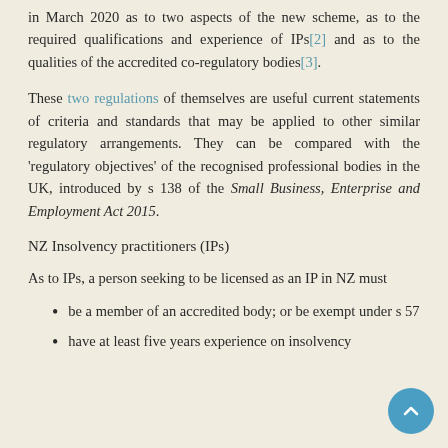in March 2020 as to two aspects of the new scheme, as to the required qualifications and experience of IPs[2] and as to the qualities of the accredited co-regulatory bodies[3].
These two regulations of themselves are useful current statements of criteria and standards that may be applied to other similar regulatory arrangements. They can be compared with the 'regulatory objectives' of the recognised professional bodies in the UK, introduced by s 138 of the Small Business, Enterprise and Employment Act 2015.
NZ Insolvency practitioners (IPs)
As to IPs, a person seeking to be licensed as an IP in NZ must
be a member of an accredited body; or be exempt under s 57
have at least five years experience on insolvency